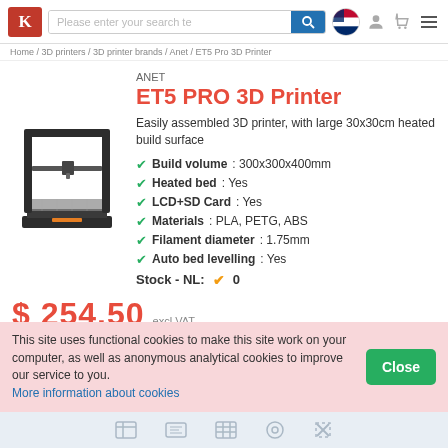Please enter your search te [search] [flag] [user] [cart] [menu]
Home / 3D printers / 3D printer brands / Anet / ET5 Pro 3D Printer
[Figure (photo): ANET ET5 PRO 3D Printer product photo — black frame 3D printer with large heated bed]
ANET
ET5 PRO 3D Printer
Easily assembled 3D printer, with large 30x30cm heated build surface
Build volume: 300x300x400mm
Heated bed: Yes
LCD+SD Card: Yes
Materials: PLA, PETG, ABS
Filament diameter: 1.75mm
Auto bed levelling: Yes
Stock - NL:  ✓ 0
$ 254.50 excl VAT
This site uses functional cookies to make this site work on your computer, as well as anonymous analytical cookies to improve our service to you.
More information about cookies